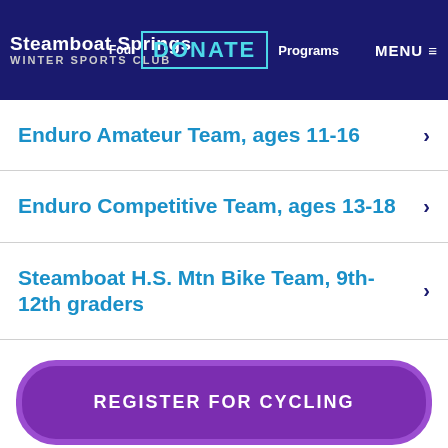Steamboat Springs WINTER SPORTS CLUB | Foundation | DONATE | Programs | MENU
Enduro Amateur Team, ages 11-16
Enduro Competitive Team, ages 13-18
Steamboat H.S. Mtn Bike Team, 9th-12th graders
REGISTER FOR CYCLING
[Figure (logo): SSWSC Gold Certification badge and US Ski & Snowboard High Performance Center logo]
sswsc@sswsc.org